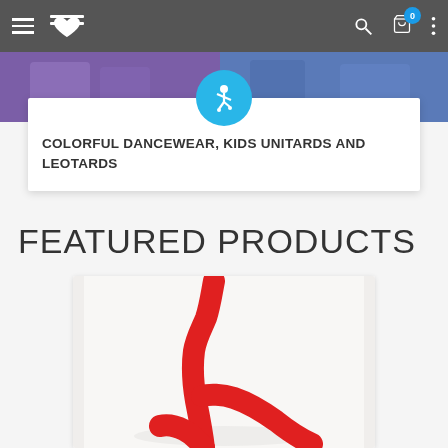Navigation bar with hamburger menu, logo, search, cart (0), and more options
[Figure (photo): Top banner image showing children in colorful dancewear (purple and blue outfits)]
[Figure (illustration): Circular teal/blue icon with white figure of a child doing a dance/gymnastics pose]
COLORFUL DANCEWEAR, KIDS UNITARDS AND LEOTARDS
FEATURED PRODUCTS
[Figure (photo): Product photo showing red children's tights/leotard displayed on a white background, with a gymnast pose shape]